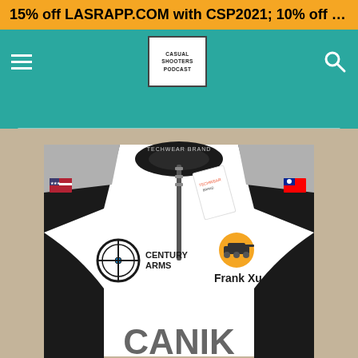15% off LASRAPP.COM with CSP2021; 10% off DRINKHOIST.C...
[Figure (screenshot): Website navigation bar with hamburger menu icon on left, Casual Shooters Podcast logo in center-left, and search icon on right, on a teal background]
[Figure (photo): A shooting sport jersey laid flat showing CANIK branding, Century Arms logo with crosshair, Frank Xu name patch with orange tank logo, American flag and Taiwan flag patches on sleeves, black and white color scheme, Techwear brand tag visible at collar]